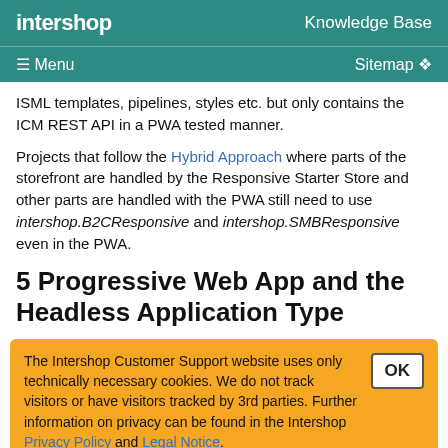intershop   Knowledge Base
≡ Menu   Sitemap
ISML templates, pipelines, styles etc. but only contains the ICM REST API in a PWA tested manner.
Projects that follow the Hybrid Approach where parts of the storefront are handled by the Responsive Starter Store and other parts are handled with the PWA still need to use intershop.B2CResponsive and intershop.SMBResponsive even in the PWA.
5 Progressive Web App and the Headless Application Type
The Intershop Customer Support website uses only technically necessary cookies. We do not track visitors or have visitors tracked by 3rd parties. Further information on privacy can be found in the Intershop Privacy Policy and Legal Notice.
define whether the PWA acts as a B2C or B2B storefront. This